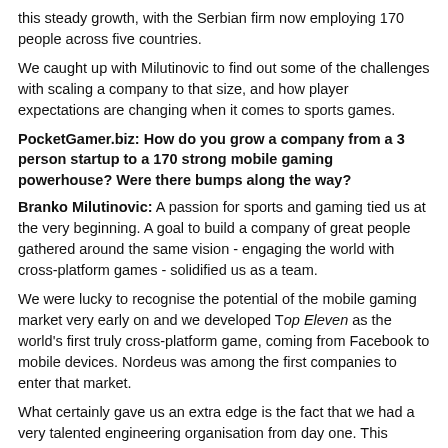this steady growth, with the Serbian firm now employing 170 people across five countries.
We caught up with Milutinovic to find out some of the challenges with scaling a company to that size, and how player expectations are changing when it comes to sports games.
PocketGamer.biz: How do you grow a company from a 3 person startup to a 170 strong mobile gaming powerhouse? Were there bumps along the way?
Branko Milutinovic: A passion for sports and gaming tied us at the very beginning. A goal to build a company of great people gathered around the same vision - engaging the world with cross-platform games - solidified us as a team.
We were lucky to recognise the potential of the mobile gaming market very early on and we developed Top Eleven as the world's first truly cross-platform game, coming from Facebook to mobile devices. Nordeus was among the first companies to enter that market.
What certainly gave us an extra edge is the fact that we had a very talented engineering organisation from day one. This helped us build a very complex platform and product. It is hard to copy, easy to scale up and to develop further.
We then started developing other pillars around our engineering team - game design, art, and business.
How do you retain talent in your company with such a large team?